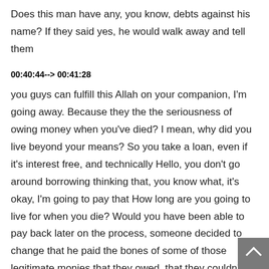Does this man have any, you know, debts against his name? If they said yes, he would walk away and tell them
00:40:44--> 00:41:28
you guys can fulfill this Allah on your companion, I'm going away. Because they the the seriousness of owing money when you've died? I mean, why did you live beyond your means? So you take a loan, even if it's interest free, and technically Hello, you don't go around borrowing thinking that, you know what, it's okay, I'm going to pay that How long are you going to live for when you die? Would you have been able to pay back later on the process, someone decided to change that he paid the bones of some of those legitimate monies that they owed, that they couldn't pay back, none of it at that time was unnecessary. Nowadays, if you need something, by all means, don't you manage and get